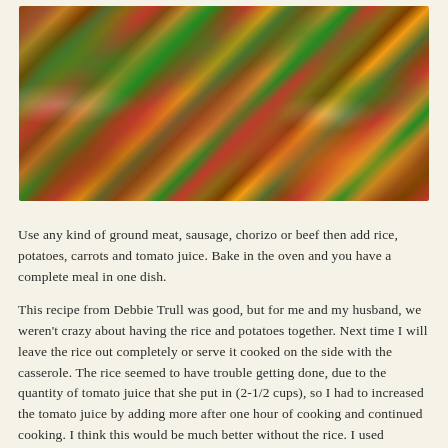[Figure (photo): Close-up photo of a cooked casserole dish with ground meat, rice, carrots, and green onions in a reddish tomato sauce, served on a plate.]
Use any kind of ground meat, sausage, chorizo or beef then add rice, potatoes, carrots and tomato juice. Bake in the oven and you have a complete meal in one dish.
This recipe from Debbie Trull was good, but for me and my husband, we weren't crazy about having the rice and potatoes together. Next time I will leave the rice out completely or serve it cooked on the side with the casserole. The rice seemed to have trouble getting done, due to the quantity of tomato juice that she put in (2-1/2 cups), so I had to increased the tomato juice by adding more after one hour of cooking and continued cooking. I think this would be much better without the rice. I used Chorizo sausage and it gave this a great flavor.